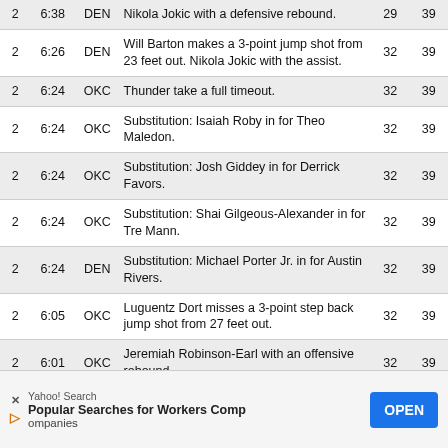| Qtr | Time | Team | Description | OKC | DEN |
| --- | --- | --- | --- | --- | --- |
| 2 | 6:38 | DEN | Nikola Jokic with a defensive rebound. | 29 | 39 |
| 2 | 6:26 | DEN | Will Barton makes a 3-point jump shot from 23 feet out. Nikola Jokic with the assist. | 32 | 39 |
| 2 | 6:24 | OKC | Thunder take a full timeout. | 32 | 39 |
| 2 | 6:24 | OKC | Substitution: Isaiah Roby in for Theo Maledon. | 32 | 39 |
| 2 | 6:24 | OKC | Substitution: Josh Giddey in for Derrick Favors. | 32 | 39 |
| 2 | 6:24 | OKC | Substitution: Shai Gilgeous-Alexander in for Tre Mann. | 32 | 39 |
| 2 | 6:24 | DEN | Substitution: Michael Porter Jr. in for Austin Rivers. | 32 | 39 |
| 2 | 6:05 | OKC | Luguentz Dort misses a 3-point step back jump shot from 27 feet out. | 32 | 39 |
| 2 | 6:01 | OKC | Jeremiah Robinson-Earl with an offensive rebound. | 32 | 39 |
| 2 | 5:58 | OKC | Luguentz Dort with a turnover: Out of Bounds | 32 | 39 |
| 2 |  |  | Will Barton misses a 3-point jump shot from 25... |  |  |
[Figure (other): Yahoo! Search advertisement banner: Popular Searches for Workers Comp Companies — OPEN button]